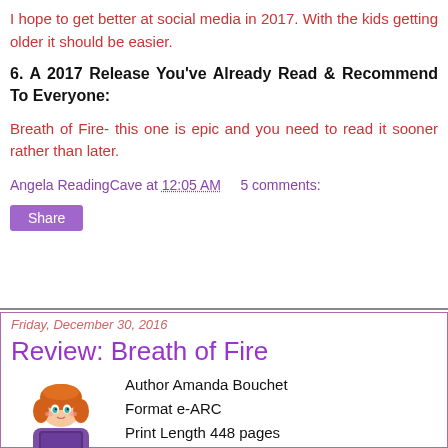I hope to get better at social media in 2017. With the kids getting older it should be easier.
6. A 2017 Release You've Already Read & Recommend To Everyone:
Breath of Fire- this one is epic and you need to read it sooner rather than later.
Angela ReadingCave at 12:05 AM    5 comments:
Share
Friday, December 30, 2016
Review: Breath of Fire
Author Amanda Bouchet
Format e-ARC
Print Length 448 pages
Publisher Sourcebooks Casalanca
Publishe